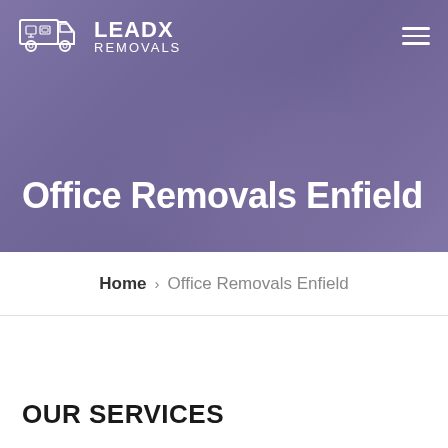[Figure (logo): LeadX Removals logo with truck/van icon in white on purple background, with hamburger menu icon on the right]
Office Removals Enfield
Home › Office Removals Enfield
OUR SERVICES